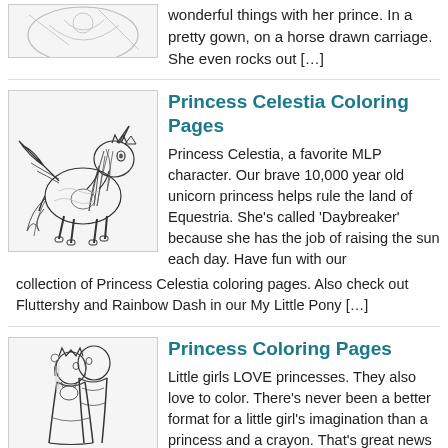[Figure (illustration): Coloring page thumbnail at top, partially visible]
wonderful things with her prince. In a pretty gown, on a horse drawn carriage. She even rocks out […]
[Figure (illustration): Princess Celestia coloring page - MLP unicorn alicorn princess with wings and flowing mane]
Princess Celestia Coloring Pages
Princess Celestia, a favorite MLP character. Our brave 10,000 year old unicorn princess helps rule the land of Equestria. She's called 'Daybreaker' because she has the job of raising the sun each day.  Have fun with our collection of Princess Celestia coloring pages. Also check out Fluttershy and Rainbow Dash in our My Little Pony […]
[Figure (illustration): Princess coloring page - two figures embracing, a prince and princess with crown]
Princess Coloring Pages
Little girls LOVE princesses. They also love to color. There's never been a better format for a little girl's imagination than a princess and a crayon. That's great news because we have a ton of princess coloring pages for you to print. ALL kinds